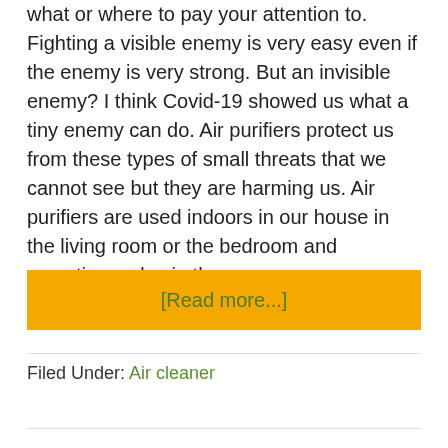what or where to pay your attention to. Fighting a visible enemy is very easy even if the enemy is very strong. But an invisible enemy? I think Covid-19 showed us what a tiny enemy can do. Air purifiers protect us from these types of small threats that we cannot see but they are harming us. Air purifiers are used indoors in our house in the living room or the bedroom and sometimes also in the …
[Read more...]
Filed Under: Air cleaner